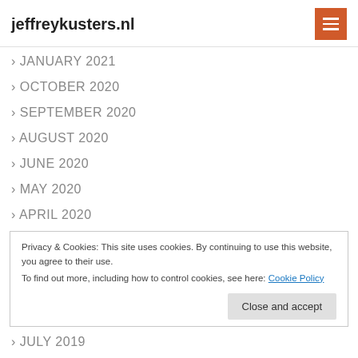jeffreykusters.nl
> JANUARY 2021
> OCTOBER 2020
> SEPTEMBER 2020
> AUGUST 2020
> JUNE 2020
> MAY 2020
> APRIL 2020
Privacy & Cookies: This site uses cookies. By continuing to use this website, you agree to their use.
To find out more, including how to control cookies, see here: Cookie Policy
Close and accept
> JULY 2019